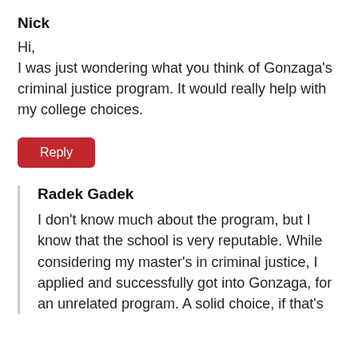Nick
Hi,
I was just wondering what you think of Gonzaga's criminal justice program. It would really help with my college choices.
Reply
Radek Gadek
I don't know much about the program, but I know that the school is very reputable. While considering my master's in criminal justice, I applied and successfully got into Gonzaga, for an unrelated program. A solid choice, if that's